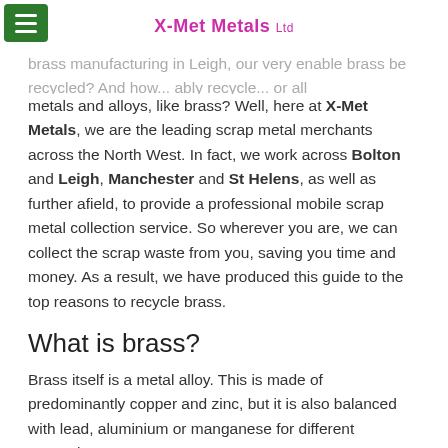X-Met Metals Ltd
brass manufacturing in Leigh, our very enable brass be recycled? And how... ably recycle... or all metals and alloys, like brass? Well, here at X-Met Metals, we are the leading scrap metal merchants across the North West. In fact, we work across Bolton and Leigh, Manchester and St Helens, as well as further afield, to provide a professional mobile scrap metal collection service. So wherever you are, we can collect the scrap waste from you, saving you time and money. As a result, we have produced this guide to the top reasons to recycle brass.
What is brass?
Brass itself is a metal alloy. This is made of predominantly copper and zinc, but it is also balanced with lead, aluminium or manganese for different properties.
Brass is durable, strong and resistant, as well as being